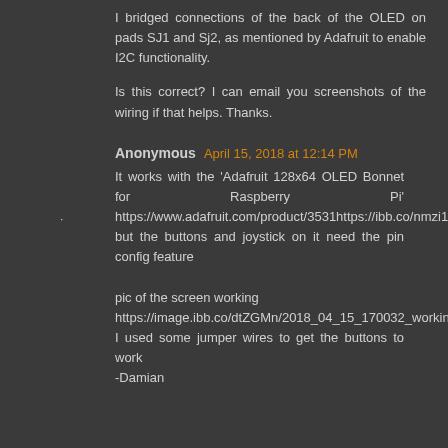I bridged connections of the back of the OLED on pads SJ1 and Sj2, as mentioned by Adafruit to enable I2C functionality.
Is this correct? I can email you screenshots of the wiring if that helps. Thanks.
Anonymous April 15, 2018 at 12:14 PM
It works with the 'Adafruit 128x64 OLED Bonnet for Raspberry Pi' https://www.adafruit.com/product/3531https://ibb.co/nmzi1n but the buttons and joystick on it need the pin config feature

pic of the screen working https://image.ibb.co/dtZGMn/2018_04_15_170032_workingCopy.png I used some jumper wires to get the buttons to work -Damian